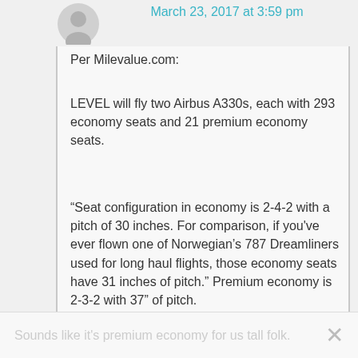[Figure (illustration): Generic grey user avatar icon]
March 23, 2017 at 3:59 pm
Per Milevalue.com:
LEVEL will fly two Airbus A330s, each with 293 economy seats and 21 premium economy seats.
“Seat configuration in economy is 2-4-2 with a pitch of 30 inches. For comparison, if you've ever flown one of Norwegian’s 787 Dreamliners used for long haul flights, those economy seats have 31 inches of pitch.” Premium economy is 2-3-2 with 37″ of pitch.
Sounds like it's premium economy for us tall folk.